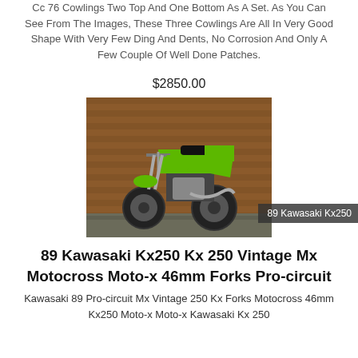Cc 76 Cowlings Two Top And One Bottom As A Set. As You Can See From The Images, These Three Cowlings Are All In Very Good Shape With Very Few Ding And Dents, No Corrosion And Only A Few Couple Of Well Done Patches.
$2850.00
[Figure (photo): Green 1989 Kawasaki KX250 dirt bike/motocross motorcycle in front of a brown corrugated metal garage door, with a dark overlay label reading '89 Kawasaki Kx250']
89 Kawasaki Kx250 Kx 250 Vintage Mx Motocross Moto-x 46mm Forks Pro-circuit
Kawasaki 89 Pro-circuit Mx Vintage 250 Kx Forks Motocross 46mm Kx250 Moto-x Moto-x Kawasaki Kx 250